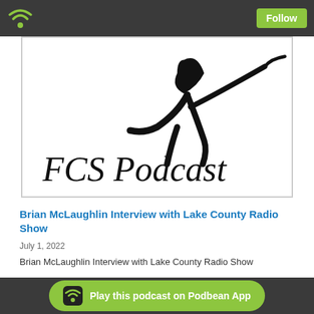Follow
[Figure (logo): FCS Podcast logo with a stylized figure and bold 'FCS Podcast' text in a bordered box]
Brian McLaughlin Interview with Lake County Radio Show
July 1, 2022
Brian McLaughlin Interview with Lake County Radio Show
[Figure (screenshot): PodBean audio player widget with PodBean logo]
Play this podcast on Podbean App